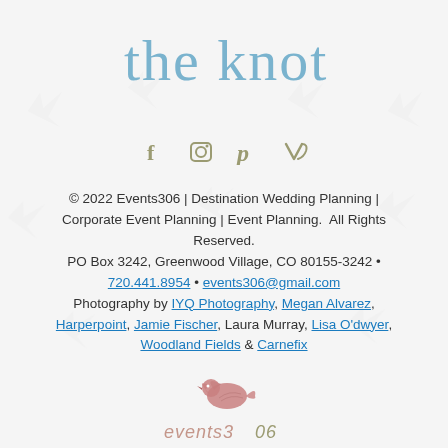[Figure (logo): The Knot logo in cursive blue script text]
[Figure (infographic): Row of four social media icons: Facebook, Instagram, Pinterest, and Vine/V in olive/khaki color]
© 2022 Events306 | Destination Wedding Planning | Corporate Event Planning | Event Planning.  All Rights Reserved.
PO Box 3242, Greenwood Village, CO 80155-3242 • 720.441.8954 • events306@gmail.com
Photography by IYQ Photography, Megan Alvarez, Harperpoint, Jamie Fischer, Laura Murray, Lisa O'dwyer, Woodland Fields & Carnefix
[Figure (logo): Events306 logo: pink illustrated bird above the text 'events306' in dusty rose and olive/khaki colors]